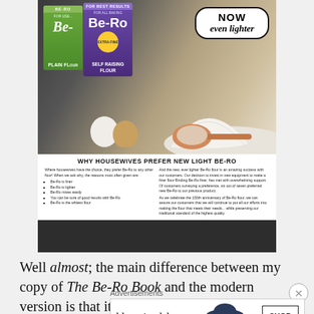[Figure (photo): Vintage Be-Ro flour advertisement showing boxes of Be-Ro Plain Flour and Self Raising Flour, a pile of white flour, eggs, a scoop, and a cloud speech bubble saying 'NOW even lighter'. Below the image is text 'WHY HOUSEWIVES PREFER NEW LIGHT BE-RO' with two columns of advertising copy.]
Well almost; the main difference between my copy of The Be-Ro Book and the modern version is that it suffers
Advertisements
[Figure (photo): Bloomingdale's advertisement banner: 'bloomingdales / View Today's Top Deals!' with an image of a woman in a wide-brim hat and a 'SHOP NOW >' button.]